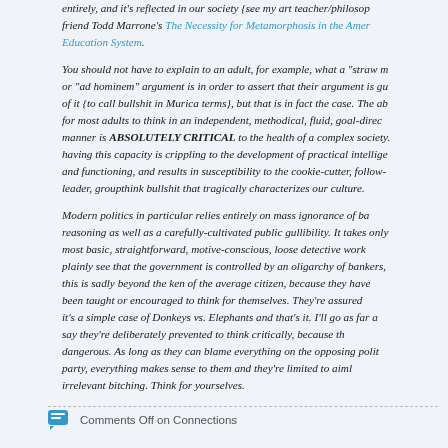entirely, and it's reflected in our society {see my art teacher/philosopher friend Todd Marrone's The Necessity for Metamorphosis in the American Education System.
You should not have to explain to an adult, for example, what a "straw man" or "ad hominem" argument is in order to assert that their argument is guilty of it {to call bullshit in Murica terms}, but that is in fact the case. The ability for most adults to think in an independent, methodical, fluid, goal-directed manner is ABSOLUTELY CRITICAL to the health of a complex society. Not having this capacity is crippling to the development of practical intelligence and functioning, and results in susceptibility to the cookie-cutter, follow-the-leader, groupthink bullshit that tragically characterizes our culture.
Modern politics in particular relies entirely on mass ignorance of basic reasoning as well as a carefully-cultivated public gullibility. It takes only the most basic, straightforward, motive-conscious, loose detective work to plainly see that the government is controlled by an oligarchy of bankers, but this is sadly beyond the ken of the average citizen, because they have never been taught or encouraged to think for themselves. They're assured instead it's a simple case of Donkeys vs. Elephants and that's it. I'll go as far as to say they're deliberately prevented to think critically, because that's dangerous. As long as they can blame everything on the opposing political party, everything makes sense to them and they're limited to aimless, irrelevant bitching. Think for yourselves.
Comments Off on Connections